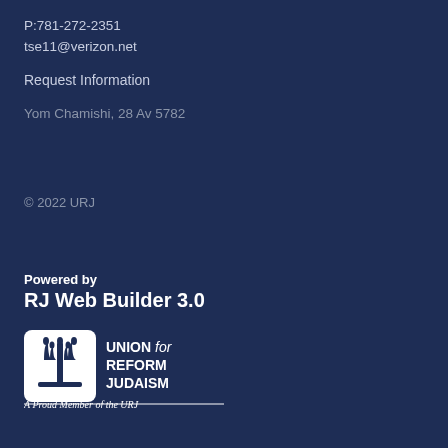P:781-272-2351
tse11@verizon.net
Request Information
Yom Chamishi, 28 Av 5782
© 2022 URJ
Powered by
RJ Web Builder 3.0
[Figure (logo): Union for Reform Judaism logo with menorah icon and text 'UNION for REFORM JUDAISM', and tagline 'A Proud Member of the URJ']